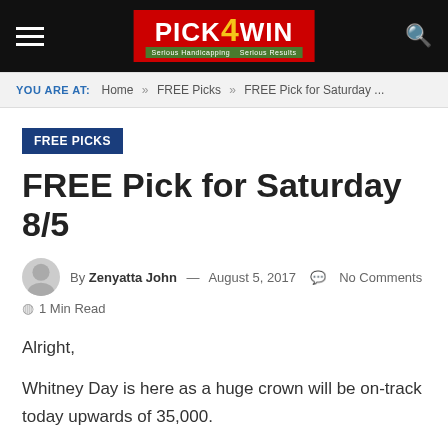PICK4WIN — Serious Handicapping, Serious Results
YOU ARE AT: Home » FREE Picks » FREE Pick for Saturday ...
FREE PICKS
FREE Pick for Saturday 8/5
By Zenyatta John — August 5, 2017   No Comments
1 Min Read
Alright,
Whitney Day is here as a huge crown will be on-track today upwards of 35,000.